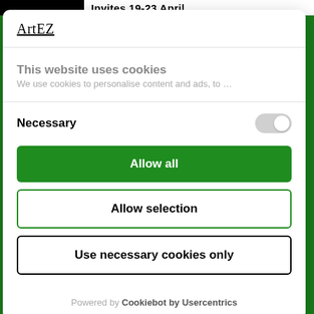Invites 19-23 April
ArtEZ
This website uses cookies
We use cookies to personalise content and ads, to…
Necessary
Allow all
Allow selection
Use necessary cookies only
Powered by Cookiebot by Usercentrics